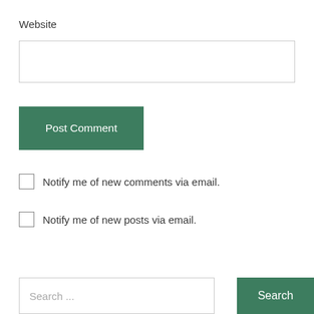Website
Post Comment
Notify me of new comments via email.
Notify me of new posts via email.
Search ...
Search